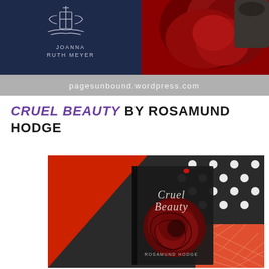[Figure (photo): Blog header banner for pagesunbound.wordpress.com showing a dark navy book cover with ornate white designs and the author name Joanna Ruth Meyer on the left, and a large red rose on a dark background on the right, with a gray bar at the bottom displaying the URL pagesunbound.wordpress.com]
CRUEL BEAUTY BY ROSAMUND HODGE
[Figure (photo): Photo of the Cruel Beauty book by Rosamund Hodge placed on a decorative background featuring red, black with white polka dots, and orange/red diamond pattern fabric or paper. The book cover shows a large dark red rose with the title Cruel Beauty and author name Rosamund Hodge.]